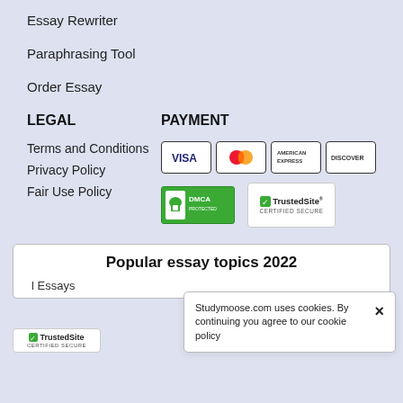Essay Rewriter
Paraphrasing Tool
Order Essay
LEGAL
PAYMENT
Terms and Conditions
Privacy Policy
Fair Use Policy
[Figure (logo): Payment card icons: VISA, Mastercard, American Express, Discover]
[Figure (logo): DMCA Protected badge and TrustedSite Certified Secure badge]
Popular essay topics 2022
l Essays
Studymoose.com uses cookies. By continuing you agree to our cookie policy
[Figure (logo): TrustedSite CERTIFIED SECURE badge (bottom left)]